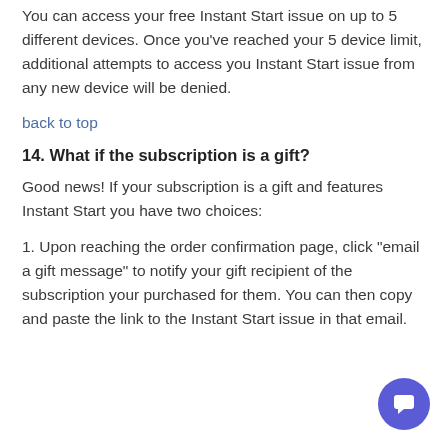You can access your free Instant Start issue on up to 5 different devices. Once you've reached your 5 device limit, additional attempts to access you Instant Start issue from any new device will be denied.
back to top
14. What if the subscription is a gift?
Good news! If your subscription is a gift and features Instant Start you have two choices:
1. Upon reaching the order confirmation page, click "email a gift message" to notify your gift recipient of the subscription your purchased for them. You can then copy and paste the link to the Instant Start issue in that email.